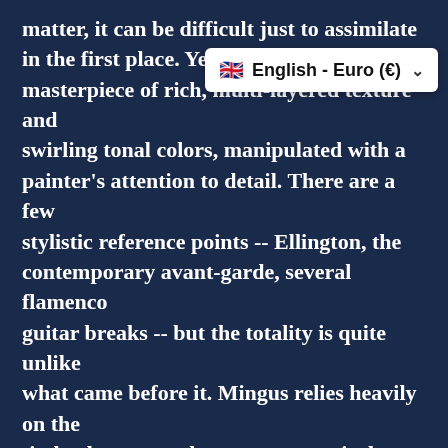matter, it can be difficult just to assimilate in the first place. Yet the work is a masterpiece of rich, multi-layered texture and swirling tonal colors, manipulated with a painter's attention to detail. There are a few stylistic reference points -- Ellington, the contemporary avant-garde, several flamenco guitar breaks -- but the totality is quite unlike what came before it. Mingus relies heavily on the timbral contrasts between expressively vocal-like muted brass, a rumbling mass of low voices (including tuba and baritone sax), and achingly lyrical upper woodwinds, highlighted by altoist Charlie Mariano. Within that framework, Mingus plays shifting rhythms, moaning dissonances, and multiple lines off one another in the most complex, interlaced fashion he'd ever attempted. Mingus was sometimes pigeonholed
[Figure (screenshot): A dropdown widget showing a UK flag emoji followed by 'English - Euro (€)' with a chevron/arrow indicating a dropdown selector]